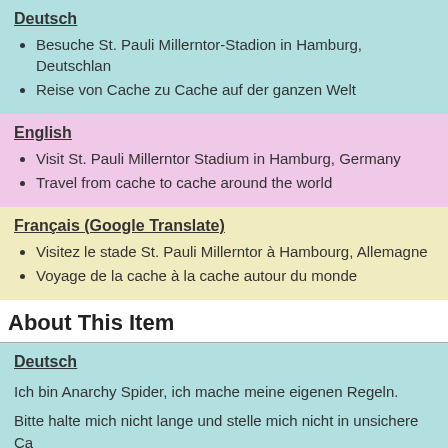Deutsch
Besuche St. Pauli Millerntor-Stadion in Hamburg, Deutschland
Reise von Cache zu Cache auf der ganzen Welt
English
Visit St. Pauli Millerntor Stadium in Hamburg, Germany
Travel from cache to cache around the world
Français (Google Translate)
Visitez le stade St. Pauli Millerntor à Hambourg, Allemagne
Voyage de la cache à la cache autour du monde
About This Item
Deutsch
Ich bin Anarchy Spider, ich mache meine eigenen Regeln.
Bitte halte mich nicht lange und stelle mich nicht in unsichere Ca